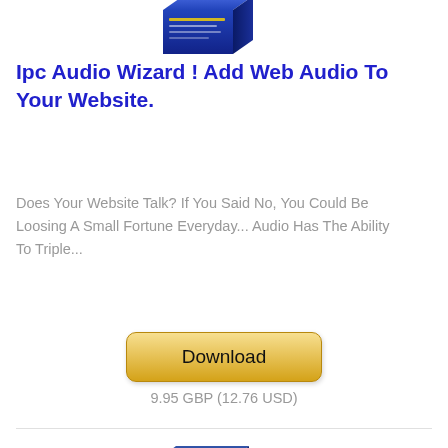[Figure (illustration): 3D book/software box for IPC Audio Wizard product, partially visible at top]
Ipc Audio Wizard ! Add Web Audio To Your Website.
Does Your Website Talk? If You Said No, You Could Be Loosing A Small Fortune Everyday... Audio Has The Ability To Triple...
[Figure (other): Gold Download button]
9.95 GBP (12.76 USD)
[Figure (illustration): 3D book cover for How To Be A Rock Star Blogger, partially visible]
How To Be A Rock Star Blogger